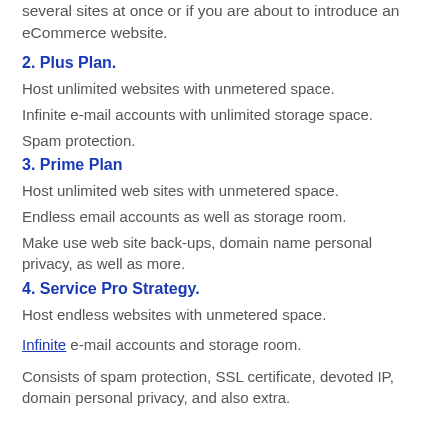several sites at once or if you are about to introduce an eCommerce website.
2. Plus Plan.
Host unlimited websites with unmetered space.
Infinite e-mail accounts with unlimited storage space.
Spam protection.
3. Prime Plan
Host unlimited web sites with unmetered space.
Endless email accounts as well as storage room.
Make use web site back-ups, domain name personal privacy, as well as more.
4. Service Pro Strategy.
Host endless websites with unmetered space.
Infinite e-mail accounts and storage room.
Consists of spam protection, SSL certificate, devoted IP, domain personal privacy, and also extra.